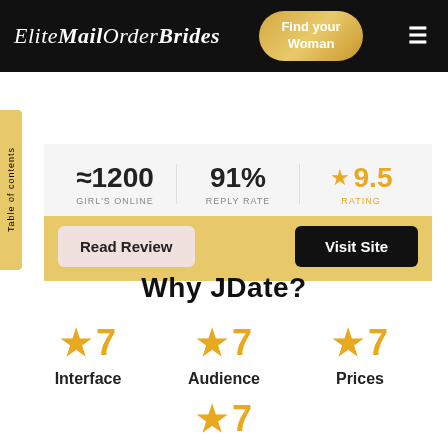EliteMailOrderBrides | Find your Woman
| GIRL'S ONLINE | REPLY RATE | RATING |
| --- | --- | --- |
| ≈1200 | 91% | ★ 9.5 |
Read Review | Visit Site
Why JDate?
★7 Interface   ★7 Audience   ★7 Prices
★7